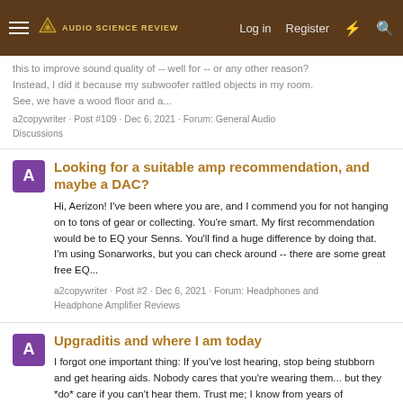Audio Science Review — Log in  Register
...this to improve sound quality of -- well for -- or any other reason? Instead, I did it because my subwoofer rattled objects in my room. See, we have a wood floor and a...
a2copywriter · Post #109 · Dec 6, 2021 · Forum: General Audio Discussions
Looking for a suitable amp recommendation, and maybe a DAC?
Hi, Aerizon! I've been where you are, and I commend you for not hanging on to tons of gear or collecting. You're smart. My first recommendation would be to EQ your Senns. You'll find a huge difference by doing that. I'm using Sonarworks, but you can check around -- there are some great free EQ...
a2copywriter · Post #2 · Dec 6, 2021 · Forum: Headphones and Headphone Amplifier Reviews
Upgraditis and where I am today
I forgot one important thing: If you've lost hearing, stop being stubborn and get hearing aids. Nobody cares that you're wearing them... but they *do* care if you can't hear them. Trust me; I know from years of experience. I've tried countless audio gear, but since